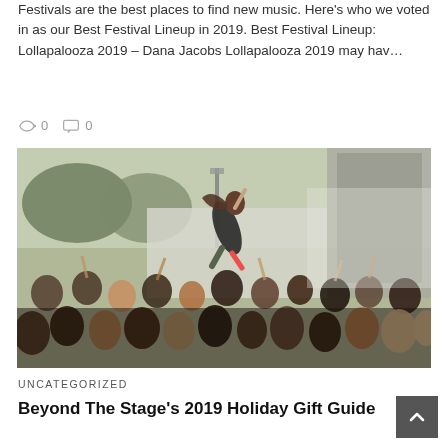Festivals are the best places to find new music. Here's who we voted in as our Best Festival Lineup in 2019. Best Festival Lineup: Lollapalooza 2019 – Dana Jacobs Lollapalooza 2019 may hav…
0  0
[Figure (photo): Concert crowd photo showing a person crowd surfing at a music festival, with a large stage speaker visible on the right and trees in the background. The crowd is densely packed and the sky appears overcast.]
UNCATEGORIZED
Beyond The Stage's 2019 Holiday Gift Guide